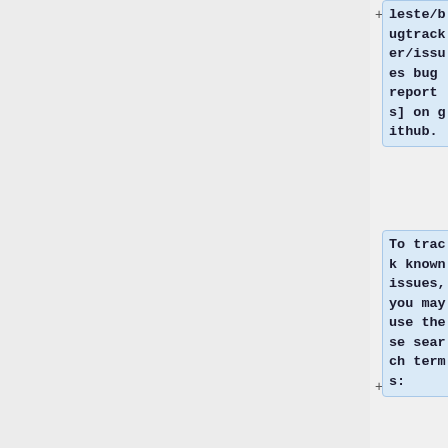leste/bugtracker/issues bug reports] on github.
To track known issues, you may use these search terms:
[https://github.com/maemo-leste/bugtracker/issues?utf8=%E2%9C%93&q=is%3Aissue+is%3Aopen+pinephone pinephone],
[https://git